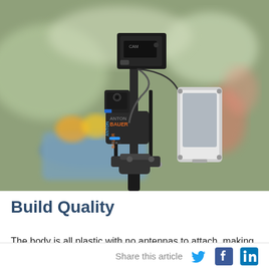[Figure (photo): A professional camera rig mounted on a tripod/stand, featuring an Anton Bauer battery pack, various cables, and a white smartphone or monitor attached to the right side. The background is blurred with a blue pot of fruit (oranges/lemons) visible, and colorful flowers in soft focus.]
Build Quality
The body is all plastic with no antennas to attach, making the
Share this article